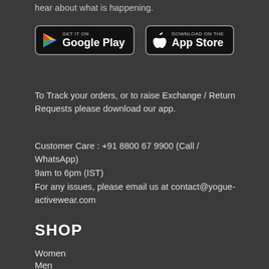hear about what is happening.
[Figure (other): Google Play and App Store download buttons]
To Track your orders, or to raise Exchange / Return Requests please download our app.
Customer Care : +91 8800 67 9900 (Call / WhatsApp) 9am to 6pm (IST)
For any issues, please email us at contact@yogue-activewear.com
SHOP
Women
Men
READ